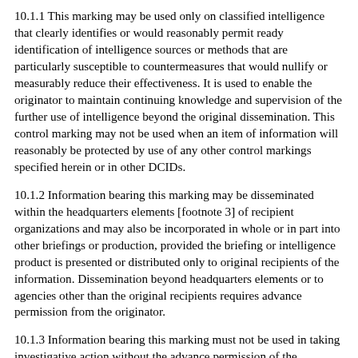10.1.1 This marking may be used only on classified intelligence that clearly identifies or would reasonably permit ready identification of intelligence sources or methods that are particularly susceptible to countermeasures that would nullify or measurably reduce their effectiveness. It is used to enable the originator to maintain continuing knowledge and supervision of the further use of intelligence beyond the original dissemination. This control marking may not be used when an item of information will reasonably be protected by use of any other control markings specified herein or in other DCIDs.
10.1.2 Information bearing this marking may be disseminated within the headquarters elements [footnote 3] of recipient organizations and may also be incorporated in whole or in part into other briefings or production, provided the briefing or intelligence product is presented or distributed only to original recipients of the information. Dissemination beyond headquarters elements or to agencies other than the original recipients requires advance permission from the originator.
10.1.3 Information bearing this marking must not be used in taking investigative action without the advance permission of the originator.
10.1.4 As this is the most restrictive marking herein, agencies will